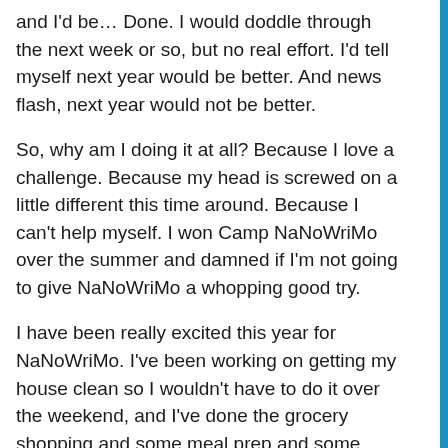and I'd be… Done. I would doddle through the next week or so, but no real effort. I'd tell myself next year would be better. And news flash, next year would not be better.
So, why am I doing it at all? Because I love a challenge. Because my head is screwed on a little different this time around. Because I can't help myself. I won Camp NaNoWriMo over the summer and damned if I'm not going to give NaNoWriMo a whopping good try.
I have been really excited this year for NaNoWriMo. I've been working on getting my house clean so I wouldn't have to do it over the weekend, and I've done the grocery shopping and some meal prep and some organization stuff to keep me on track and I've been so damn excited that… Wait for it… I burnt myself out two days ago. I was exhausted. Literally exhausted. I couldn't put two words